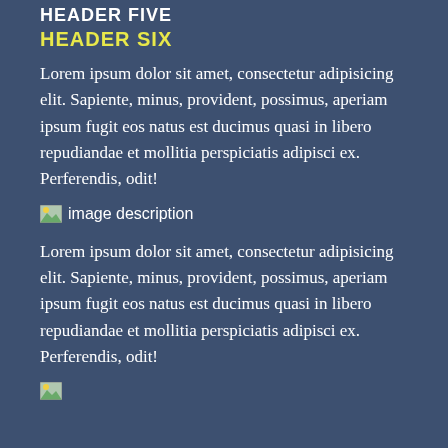HEADER FIVE
HEADER SIX
Lorem ipsum dolor sit amet, consectetur adipisicing elit. Sapiente, minus, provident, possimus, aperiam ipsum fugit eos natus est ducimus quasi in libero repudiandae et mollitia perspiciatis adipisci ex. Perferendis, odit!
[Figure (illustration): Broken image placeholder with alt text 'image description']
Lorem ipsum dolor sit amet, consectetur adipisicing elit. Sapiente, minus, provident, possimus, aperiam ipsum fugit eos natus est ducimus quasi in libero repudiandae et mollitia perspiciatis adipisci ex. Perferendis, odit!
[Figure (illustration): Broken image placeholder at bottom of page]